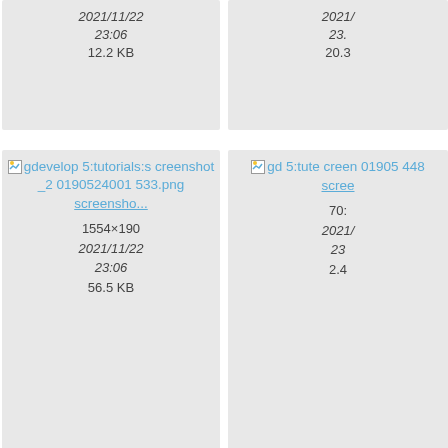[Figure (screenshot): File manager / wiki media listing showing image thumbnails with broken image icons, filenames as links, dimensions, dates and sizes. Visible entries: screenshot_20190524001533.png (1554×190, 2021/11/22 23:06, 56.5 KB), a partially visible entry (20.x KB), screenshot_20190524001533.png partial second column, screenshot_20190524122246.png (844×515, 2021/11/22), and partial fourth column entry.]